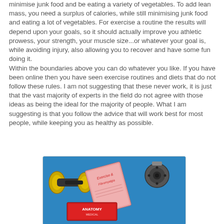minimise junk food and be eating a variety of vegetables. To add lean mass, you need a surplus of calories, while still minimising junk food and eating a lot of vegetables. For exercise a routine the results will depend upon your goals, so it should actually improve you athletic prowess, your strength, your muscle size...or whatever your goal is, while avoiding injury, also allowing you to recover and have some fun doing it.
Within the boundaries above you can do whatever you like. If you have been online then you have seen exercise routines and diets that do not follow these rules. I am not suggesting that these never work, it is just that the vast majority of experts in the field do not agree with those ideas as being the ideal for the majority of people. What I am suggesting is that you follow the advice that will work best for most people, while keeping you as healthy as possible.
[Figure (photo): A photo on a blue background showing fitness and health items: a yellow dumbbell, a weight plate, a pink book titled 'Exercise & Fibromyalgia', and a book titled 'Anatomy' at the bottom.]